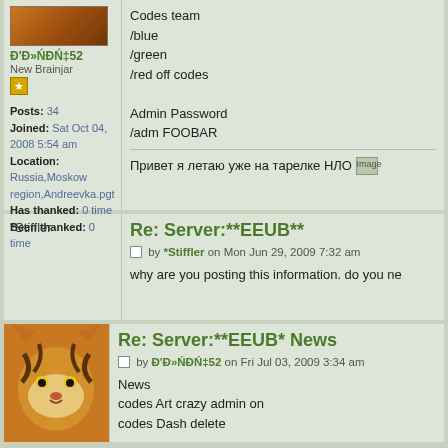[Figure (photo): Tiger avatar image (partial, top)]
Ð'Ð»ÑÐÑ‡52
New Brainjar
Posts: 34
Joined: Sat Oct 04, 2008 5:54 am
Location: Russia,Moskow region,Andreevka.pgt
Has thanked: 0 time
Been thanked: 0 time
Codes team
/blue
/green
/red off codes

Admin Password
/adm FOOBAR

Привет я летаю уже на тарелке НЛО [Image]
*Stiffler
Re: Server:**EEUB**
by *Stiffler on Mon Jun 29, 2009 7:32 am
why are you posting this information. do you ne
[Figure (photo): Tiger avatar image]
Re: Server:**EEUB* News
by Ð'Ð»ÑÐÑ‡52 on Fri Jul 03, 2009 3:34 am
News
codes Art crazy admin on
codes Dash delete

broblem observer [smiley]